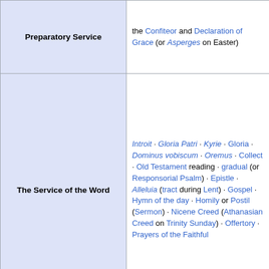| Service Part | Elements |
| --- | --- |
| Preparatory Service | the Confiteor and Declaration of Grace (or Asperges on Easter) |
| The Service of the Word | Introit · Gloria Patri · Kyrie · Gloria · Dominus vobiscum · Oremus · Collect · Old Testament reading · gradual (or Responsorial Psalm) · Epistle · Alleluia (tract during Lent) · Gospel · Hymn of the day · Homily or Postil (Sermon) · Nicene Creed (Athanasian Creed on Trinity Sunday) · Offertory · Prayers of the Faithful |
| The Service of the Eucharist | Preface (Sursum corda / Sanctus / Hosanna) · Eucharistic Prayer (Epiclesis / Words of Institution / Memorial Acclamation) · Lord's Prayer · Sign of peace / pax (elevation) · Agnus Dei · Distribution · Nunc dimittis · Postcommunion · Benedicamus Domino · Benediction · Dismissal · Ite, missa est |
| Participants | Acolyte · bishop · cantor · choir · crucifer · deacon · elder · laity · lector |